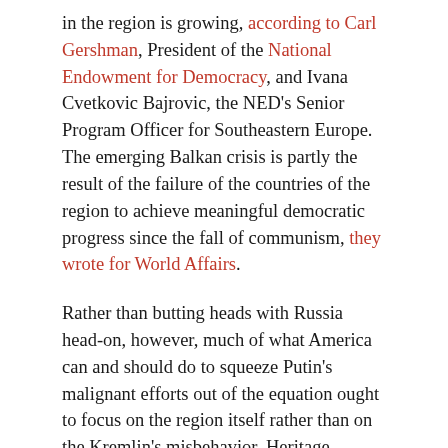in the region is growing, according to Carl Gershman, President of the National Endowment for Democracy, and Ivana Cvetkovic Bajrovic, the NED's Senior Program Officer for Southeastern Europe. The emerging Balkan crisis is partly the result of the failure of the countries of the region to achieve meaningful democratic progress since the fall of communism, they wrote for World Affairs.
Rather than butting heads with Russia head-on, however, much of what America can and should do to squeeze Putin's malignant efforts out of the equation ought to focus on the region itself rather than on the Kremlin's misbehavior, Heritage Foundation vice president Carafano contends: